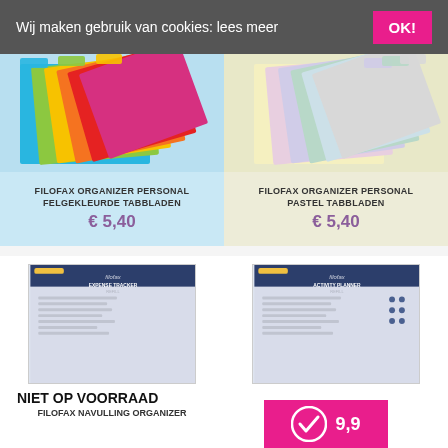Wij maken gebruik van cookies: lees meer
[Figure (screenshot): OK! button in pink/magenta]
[Figure (photo): Filofax colorful folder tabs - bright colors]
FILOFAX ORGANIZER PERSONAL FELGEKLEURDE TABBLADEN
€ 5,40
[Figure (photo): Filofax pastel folder tabs]
FILOFAX ORGANIZER PERSONAL PASTEL TABBLADEN
€ 5,40
[Figure (photo): Filofax Expense Tracker refill booklet]
NIET OP VOORRAAD
FILOFAX NAVULLING ORGANIZER
[Figure (photo): Filofax Activity Planner refill booklet]
FIL... ORGANIZER
[Figure (logo): Review badge with checkmark icon and score 9,9 on pink background]